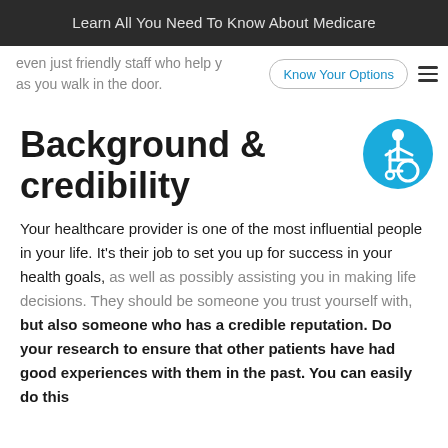Learn All You Need To Know About Medicare
even just friendly staff who help y as you walk in the door.
Background & credibility
[Figure (illustration): Blue circular accessibility icon showing a person in a wheelchair]
Your healthcare provider is one of the most influential people in your life. It's their job to set you up for success in your health goals, as well as possibly assisting you in making life decisions. They should be someone you trust yourself with, but also someone who has a credible reputation. Do your research to ensure that other patients have had good experiences with them in the past. You can easily do this